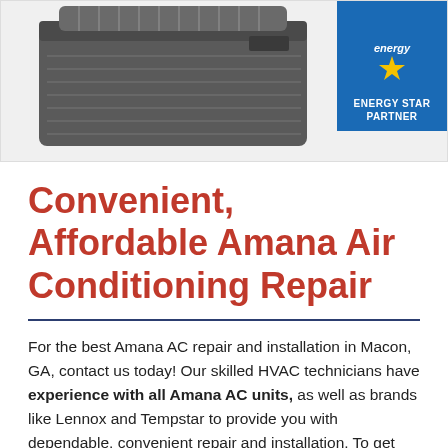[Figure (photo): AC unit (Amana air conditioner outdoor unit) on white background, with Energy Star Partner badge in top right corner]
Convenient, Affordable Amana Air Conditioning Repair
For the best Amana AC repair and installation in Macon, GA, contact us today! Our skilled HVAC technicians have experience with all Amana AC units, as well as brands like Lennox and Tempstar to provide you with dependable, convenient repair and installation. To get your Amana AC up and running as it should call Total Comfort Cooling & Heating, LLC! Our experts will perform a complete inspection of your system to